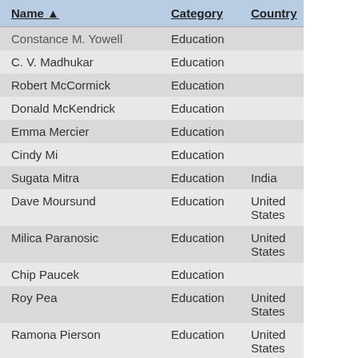| Name | Category | Country |
| --- | --- | --- |
| Constance M. Yowell | Education |  |
| C. V. Madhukar | Education |  |
| Robert McCormick | Education |  |
| Donald McKendrick | Education |  |
| Emma Mercier | Education |  |
| Cindy Mi | Education |  |
| Sugata Mitra | Education | India |
| Dave Moursund | Education | United States |
| Milica Paranosic | Education | United States |
| Chip Paucek | Education |  |
| Roy Pea | Education | United States |
| Ramona Pierson | Education | United States |
| Catherine Plaisant | Education |  |